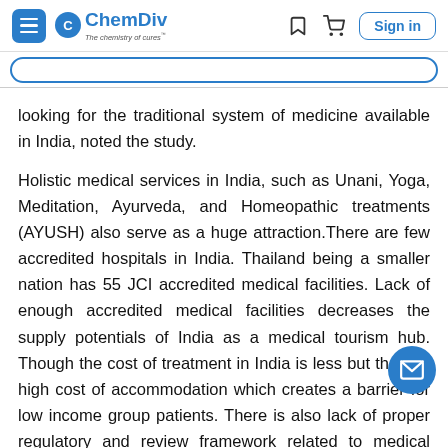ChemDiv — The chemistry of cures
looking for the traditional system of medicine available in India, noted the study.
Holistic medical services in India, such as Unani, Yoga, Meditation, Ayurveda, and Homeopathic treatments (AYUSH) also serve as a huge attraction.There are few accredited hospitals in India. Thailand being a smaller nation has 55 JCI accredited medical facilities. Lack of enough accredited medical facilities decreases the supply potentials of India as a medical tourism hub. Though the cost of treatment in India is less but there is high cost of accommodation which creates a barrier for low income group patients. There is also lack of proper regulatory and review framework related to medical tourism giving way to many legal and ethical issues.
Many problems arise due to lack of synergy between